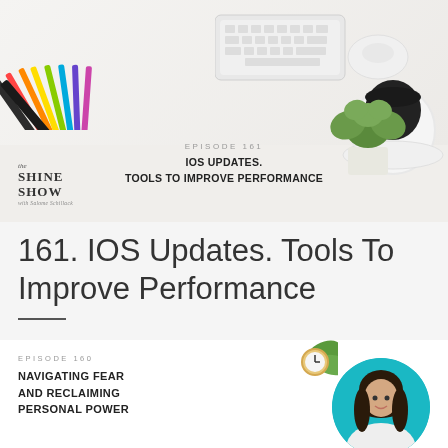[Figure (illustration): Top podcast episode card showing Episode 161 with decorative photo background (pencils, keyboard, coffee, plant), The Shine Show logo, episode number and title text overlaid]
161. IOS Updates. Tools To Improve Performance
[Figure (illustration): Bottom podcast episode card showing Episode 160 with circular portrait photo of a woman with dark hair, teal circle background]
EPISODE 160
NAVIGATING FEAR AND RECLAIMING PERSONAL POWER